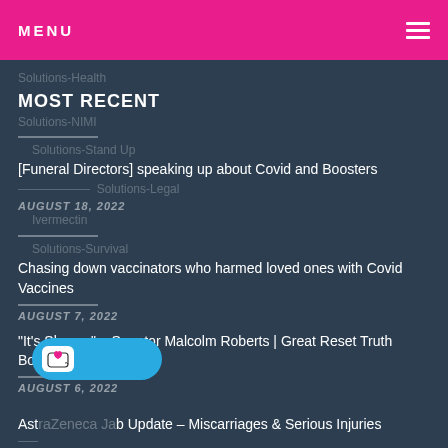MENU
MOST RECENT
Solutions-Health
Solutions-NIMI
Solutions-Stand Up
Solutions-Legal
Ivermectin
Solutions-Survival
[Funeral Directors] speaking up about Covid and Boosters
AUGUST 18, 2022
Chasing down vaccinators who harmed loved ones with Covid Vaccines
AUGUST 7, 2022
“It’s Slavery” – Senator Malcolm Roberts | Great Reset Truth Bombs
AUGUST 6, 2022
AstraZeneca Jab Update – Miscarriages & Serious Injuries